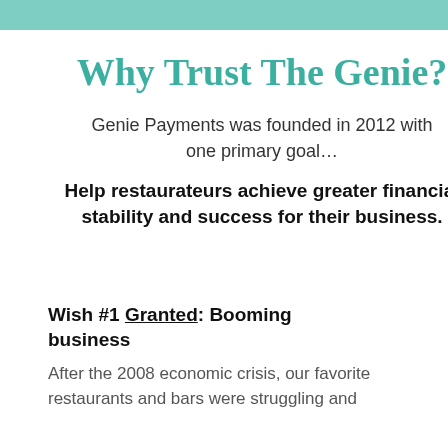Why Trust The Genie?
Genie Payments was founded in 2012 with one primary goal…
Help restaurateurs achieve greater financial stability and success for their business.
Wish #1 Granted: Booming business
After the 2008 economic crisis, our favorite restaurants and bars were struggling and